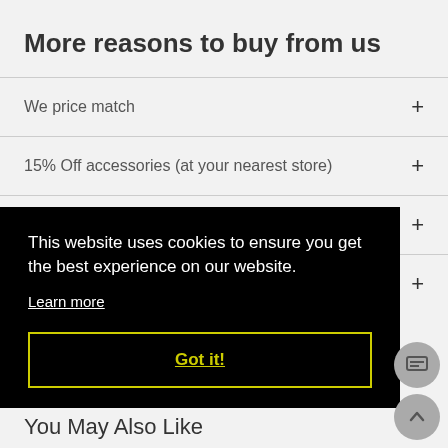More reasons to buy from us
We price match
15% Off accessories (at your nearest store)
We fit the bike to you (in-store / C&C)
Free 6 week service (at your nearest store)
This website uses cookies to ensure you get the best experience on our website.
Learn more
Got it!
You May Also Like